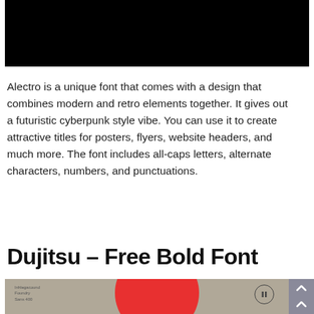[Figure (screenshot): Black banner image at the top of the page]
Alectro is a unique font that comes with a design that combines modern and retro elements together. It gives out a futuristic cyberpunk style vibe. You can use it to create attractive titles for posters, flyers, website headers, and much more. The font includes all-caps letters, alternate characters, numbers, and punctuations.
Dujitsu – Free Bold Font
[Figure (photo): Preview image of Dujitsu font showing a vinyl record on a gray background with a red circle and pause button icon]